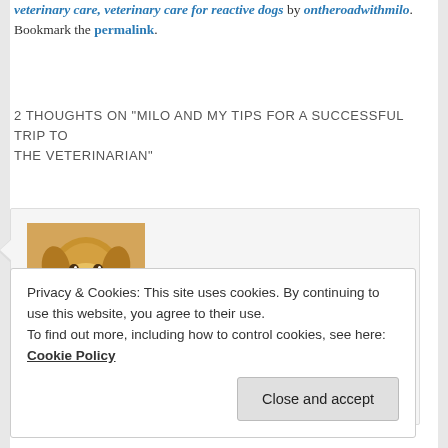veterinary care, veterinary care for reactive dogs by ontheroadwithmilo. Bookmark the permalink.
2 THOUGHTS ON "MILO AND MY TIPS FOR A SUCCESSFUL TRIP TO THE VETERINARIAN"
[Figure (photo): Photo of a golden retriever dog with tongue out, used as commenter avatar]
OlRedHair on April 15, 2018 at 5:05 pm said:
Very informative! Thank you. Could you post a picture of Hoss the cat?
Privacy & Cookies: This site uses cookies. By continuing to use this website, you agree to their use. To find out more, including how to control cookies, see here: Cookie Policy
Close and accept